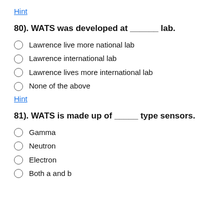Hint
80). WATS was developed at ______ lab.
Lawrence live more national lab
Lawrence international lab
Lawrence lives more international lab
None of the above
Hint
81). WATS is made up of _____ type sensors.
Gamma
Neutron
Electron
Both a and b